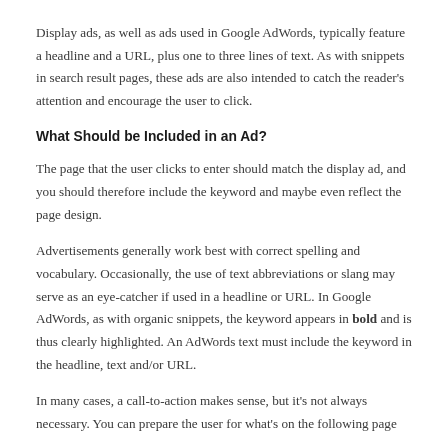Display ads, as well as ads used in Google AdWords, typically feature a headline and a URL, plus one to three lines of text. As with snippets in search result pages, these ads are also intended to catch the reader's attention and encourage the user to click.
What Should be Included in an Ad?
The page that the user clicks to enter should match the display ad, and you should therefore include the keyword and maybe even reflect the page design.
Advertisements generally work best with correct spelling and vocabulary. Occasionally, the use of text abbreviations or slang may serve as an eye-catcher if used in a headline or URL. In Google AdWords, as with organic snippets, the keyword appears in bold and is thus clearly highlighted. An AdWords text must include the keyword in the headline, text and/or URL.
In many cases, a call-to-action makes sense, but it's not always necessary. You can prepare the user for what's on the following page